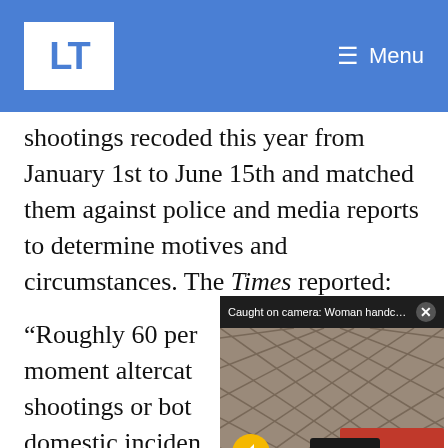LT | Menu
shootings recoded this year from January 1st to June 15th and matched them against police and media reports to determine motives and circumstances. The Times reported:
[Figure (screenshot): Video popup overlay with title 'Caught on camera: Woman handcuffed, ...' and caption 'CAUGHT ON CAMERA: WOMAN HANDCUFFED, PLACED IN POLICE SUV GETS OFFICER'S RIFLE, OPENS FIRE']
“Roughly 60 per… moment altercat… shootings or both… domestic inciden… victimized, and 27 percent were a mix of attacks on specific victims, robberies gone…